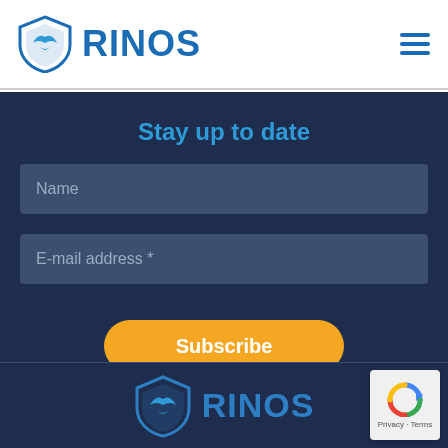[Figure (logo): RINOS logo with shield icon and blue text in white header bar]
Stay up to date
[Figure (screenshot): Name input field (dark blue-grey background)]
[Figure (screenshot): E-mail address * input field (dark blue-grey background)]
[Figure (screenshot): Subscribe button (orange rounded)]
[Figure (logo): RINOS logo with shield icon in dark blue footer section]
[Figure (screenshot): Google reCAPTCHA badge with Privacy and Terms text]